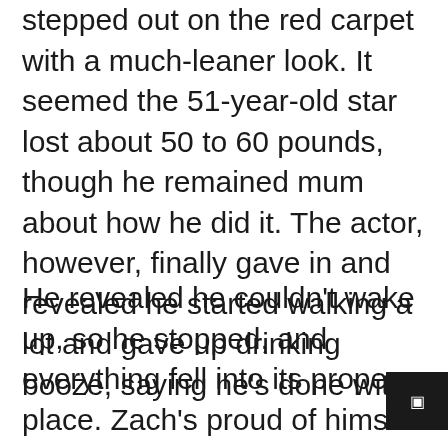stepped out on the red carpet with a much-leaner look. It seemed the 51-year-old star lost about 50 to 60 pounds, though he remained mum about how he did it. The actor, however, finally gave in and revealed he started walking a lot and gave up drinking booze, saying he's done with it.
He revealed he couldn't wake up, so he stopped, and everything fell into its proper place. Zach's proud of himself for having walked away from alcohol. He also says that he's lucky for winning the battle. The Hangover star appreciates his lighter weight and said that can now go up